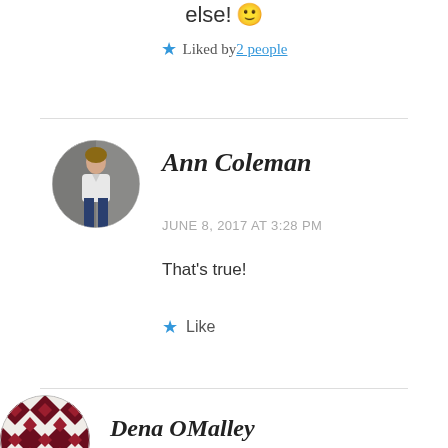else! 😊
★ Liked by 2 people
Ann Coleman
JUNE 8, 2017 AT 3:28 PM
That's true!
★ Like
Dena OMalley